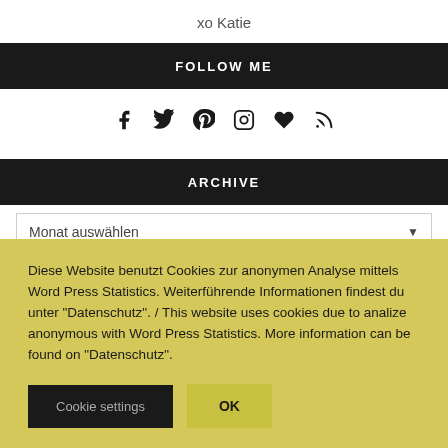xo Katie
FOLLOW ME
[Figure (other): Row of social media icons: Facebook, Twitter, Pinterest, Instagram, heart (Bloglovin), RSS feed]
ARCHIVE
Month auswählen
Diese Website benutzt Cookies zur anonymen Analyse mittels Word Press Statistics. Weiterführende Informationen findest du unter "Datenschutz". / This website uses cookies due to analize anonymous with Word Press Statistics. More information can be found on "Datenschutz".
Cookie settings
OK